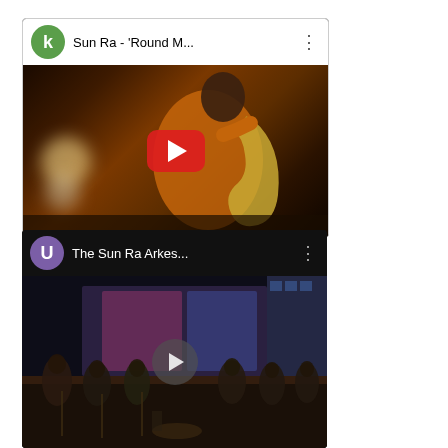[Figure (screenshot): YouTube video thumbnail card 1: avatar 'k' (green circle), title 'Sun Ra - Round M...', menu dots icon, thumbnail showing saxophonist in orange jacket on dark stage with red YouTube play button]
[Figure (screenshot): YouTube video thumbnail card 2: avatar 'U' (purple circle), title 'The Sun Ra Arkes...', menu dots icon, dark thumbnail showing Sun Ra Arkestra on stage with gray play button]